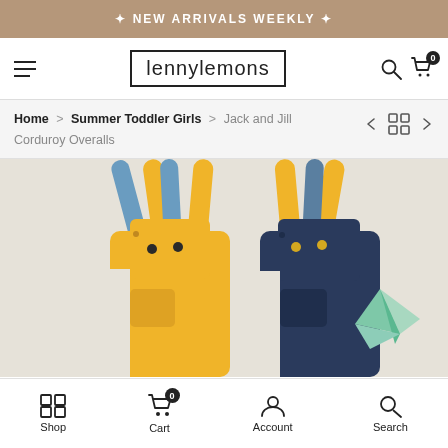✦ NEW ARRIVALS WEEKLY ✦
[Figure (logo): lennylemons brand logo in a rectangular border]
Home > Summer Toddler Girls > Jack and Jill Corduroy Overalls
[Figure (photo): Two corduroy overalls laid flat on a light beige surface — one yellow with blue straps, one navy with yellow straps — with a mint green origami bird in the corner]
Shop  Cart  Account  Search